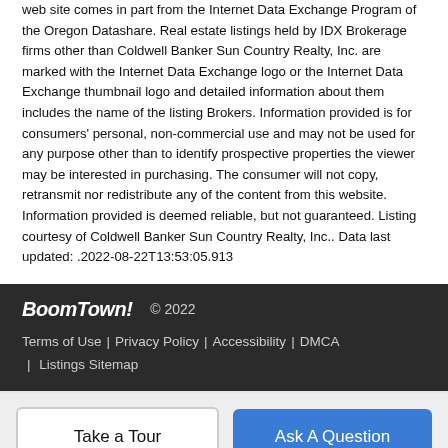web site comes in part from the Internet Data Exchange Program of the Oregon Datashare. Real estate listings held by IDX Brokerage firms other than Coldwell Banker Sun Country Realty, Inc. are marked with the Internet Data Exchange logo or the Internet Data Exchange thumbnail logo and detailed information about them includes the name of the listing Brokers. Information provided is for consumers' personal, non-commercial use and may not be used for any purpose other than to identify prospective properties the viewer may be interested in purchasing. The consumer will not copy, retransmit nor redistribute any of the content from this website. Information provided is deemed reliable, but not guaranteed. Listing courtesy of Coldwell Banker Sun Country Realty, Inc.. Data last updated: .2022-08-22T13:53:05.913
BoomTown! © 2022 | Terms of Use | Privacy Policy | Accessibility | DMCA | Listings Sitemap
Take a Tour | Ask A Question